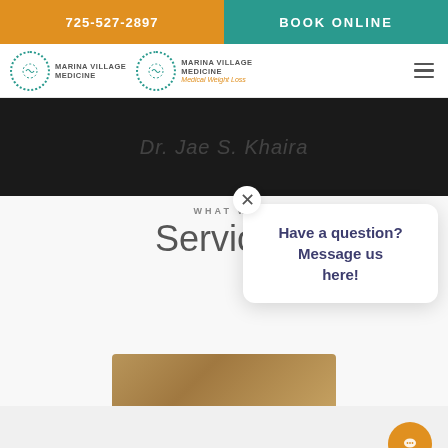725-527-2897
BOOK ONLINE
[Figure (logo): Marina Village Medicine logo - circular dotted logo with text MARINA VILLAGE MEDICINE]
[Figure (logo): Marina Village Medicine Medical Weight Loss logo - circular dotted logo with subtitle Medical Weight Loss]
[Figure (photo): Dark hero image with faint text Dr. Jae S. Khaira]
Have a question? Message us here!
WHAT WI
Services
[Figure (photo): Bottom partial image strip with warm brown/golden tones]